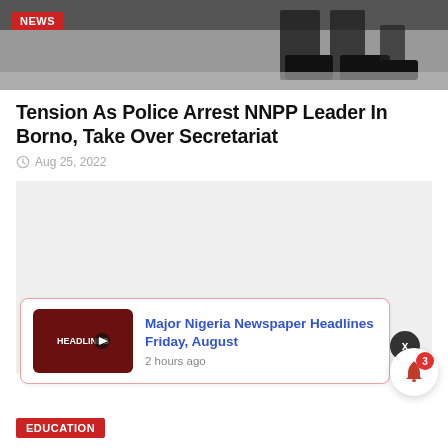[Figure (photo): Black and white photo of boots/legs of people walking on a street, with a red NEWS badge overlay in top-left corner]
Tension As Police Arrest NNPP Leader In Borno, Take Over Secretariat
Aug 25, 2022
[Figure (other): Light grey advertisement placeholder box with a close/X button in the bottom right corner]
[Figure (other): Promotional card with dark red thumbnail labeled HEADLINES and blue link text: Major Nigeria Newspaper Headlines Friday, August - 2 hours ago]
EDUCATION